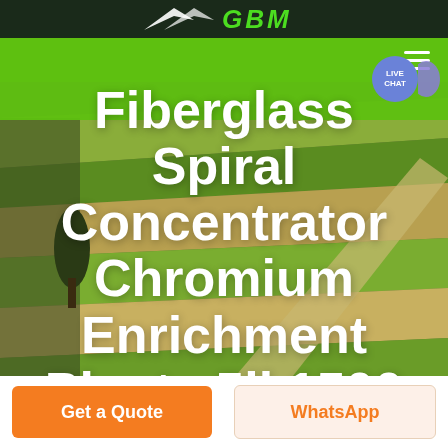GBM
[Figure (screenshot): Aerial photo of agricultural fields with green and golden stripes used as hero background]
Fiberglass Spiral Concentrator Chromium Enrichment Plants 5ll 1500
LIVE CHAT
Get a Quote
WhatsApp